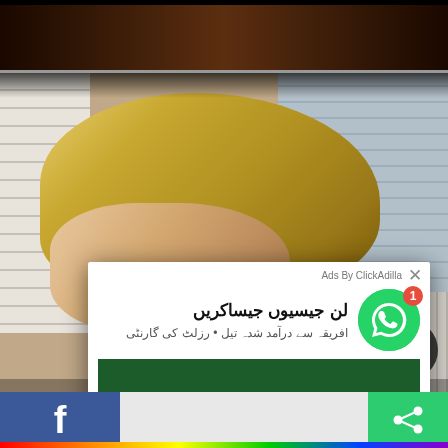[Figure (photo): Background photo of a blonde woman with head tilted, white chair and window in background]
[Figure (screenshot): ClickAdilla ad popup overlay with Urdu text and WhatsApp icon. Text reads: لن جیسیوں جیساکریں (top title) and افریقہ سے درآمد شدہ تیل • رزلٹ کی گارنٹی (subtitle). Large WhatsApp logo with notification badge showing '1'.]
2sd